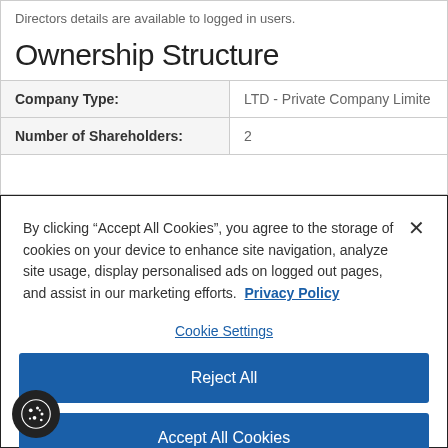Directors details are available to logged in users.
Ownership Structure
|  |  |
| --- | --- |
| Company Type: | LTD - Private Company Limited |
| Number of Shareholders: | 2 |
By clicking “Accept All Cookies”, you agree to the storage of cookies on your device to enhance site navigation, analyze site usage, display personalised ads on logged out pages, and assist in our marketing efforts. Privacy Policy
Cookie Settings
Reject All
Accept All Cookies